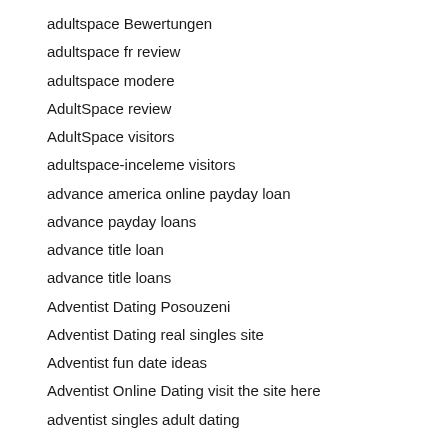adultspace Bewertungen
adultspace fr review
adultspace modere
AdultSpace review
AdultSpace visitors
adultspace-inceleme visitors
advance america online payday loan
advance payday loans
advance title loan
advance title loans
Adventist Dating Posouzeni
Adventist Dating real singles site
Adventist fun date ideas
Adventist Online Dating visit the site here
adventist singles adult dating